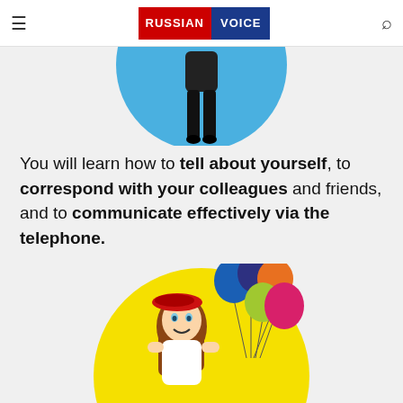RUSSIAN VOICE
[Figure (illustration): Partial illustration of a woman in dark pants against a blue circle background, cropped at top]
You will learn how to tell about yourself, to correspond with your colleagues and friends, and to communicate effectively via the telephone.
[Figure (illustration): Cartoon illustration of a young woman wearing a red beret holding balloons (blue, dark blue, orange, yellow-green, pink) against a yellow circle background]